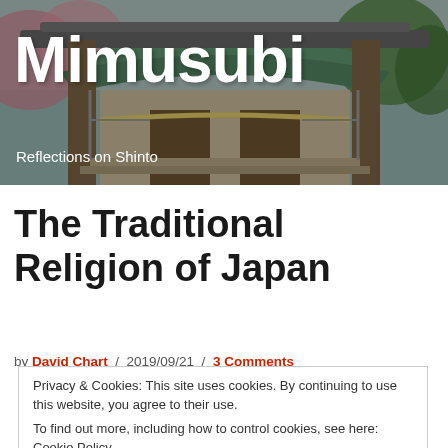[Figure (photo): Japanese Shinto shrine gate (torii and shrine building) with pink cherry blossom trees and green foliage, viewed through the torii gate columns]
Mimusubi
Reflections on Shinto
The Traditional Religion of Japan
by David Chart / 2019/09/21 / 3 Comments
Privacy & Cookies: This site uses cookies. By continuing to use this website, you agree to their use.
To find out more, including how to control cookies, see here: Cookie Policy
Shinto is the traditional religion of Japan.
Close and accept